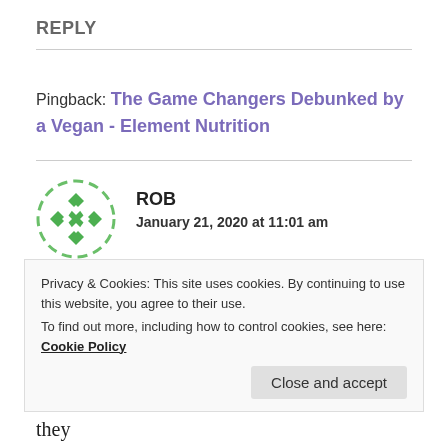REPLY
Pingback: The Game Changers Debunked by a Vegan - Element Nutrition
ROB
January 21, 2020 at 11:01 am
The species of primate in the infographic isn't just most likely a chimpanzee, it is definitely a
Privacy & Cookies: This site uses cookies. By continuing to use this website, you agree to their use.
To find out more, including how to control cookies, see here: Cookie Policy
omnivores and we have known since 1960 that they